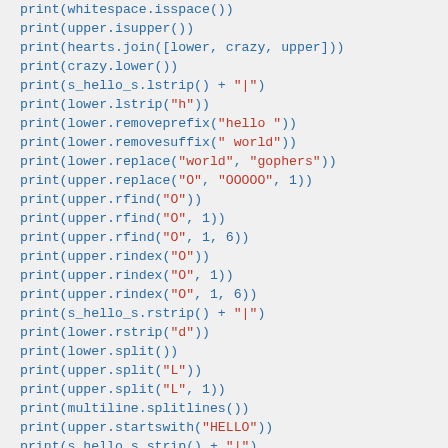print(whitespace.isspace())
print(upper.isupper())
print(hearts.join([lower, crazy, upper]))
print(crazy.lower())
print(s_hello_s.lstrip() + "|")
print(lower.lstrip("h"))
print(lower.removeprefix("hello "))
print(lower.removesuffix(" world"))
print(lower.replace("world", "gophers"))
print(upper.replace("O", "OOOOO", 1))
print(upper.rfind("O"))
print(upper.rfind("O", 1))
print(upper.rfind("O", 1, 6))
print(upper.rindex("O"))
print(upper.rindex("O", 1))
print(upper.rindex("O", 1, 6))
print(s_hello_s.rstrip() + "|")
print(lower.rstrip("d"))
print(lower.split())
print(upper.split("L"))
print(upper.split("L", 1))
print(multiline.splitlines())
print(upper.startswith("HELLO"))
print(s_hello_s.strip() + "|")